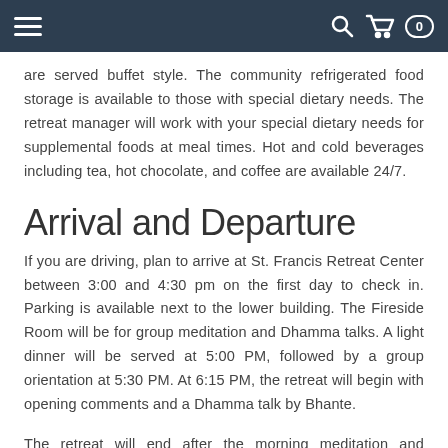Navigation header with hamburger menu, search, cart, and counter icons
are served buffet style. The community refrigerated food storage is available to those with special dietary needs. The retreat manager will work with your special dietary needs for supplemental foods at meal times. Hot and cold beverages including tea, hot chocolate, and coffee are available 24/7.
Arrival and Departure
If you are driving, plan to arrive at St. Francis Retreat Center between 3:00 and 4:30 pm on the first day to check in. Parking is available next to the lower building. The Fireside Room will be for group meditation and Dhamma talks. A light dinner will be served at 5:00 PM, followed by a group orientation at 5:30 PM. At 6:15 PM, the retreat will begin with opening comments and a Dhamma talk by Bhante.
The retreat will end after the morning meditation and breakfast on the last day of the retreat with time to socialize, take photos, and pack following breakfast. Guests driving to